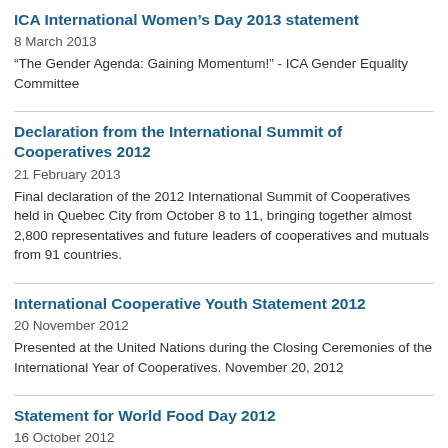ICA International Women's Day 2013 statement
8 March 2013
“The Gender Agenda: Gaining Momentum!” - ICA Gender Equality Committee
Declaration from the International Summit of Cooperatives 2012
21 February 2013
Final declaration of the 2012 International Summit of Cooperatives held in Quebec City from October 8 to 11, bringing together almost 2,800 representatives and future leaders of cooperatives and mutuals from 91 countries.
International Cooperative Youth Statement 2012
20 November 2012
Presented at the United Nations during the Closing Ceremonies of the International Year of Cooperatives. November 20, 2012
Statement for World Food Day 2012
16 October 2012